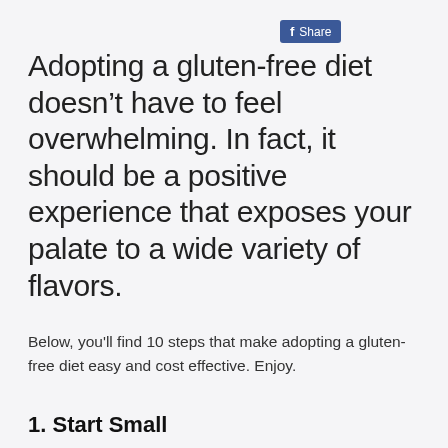[Figure (other): Facebook Share button with blue background]
Adopting a gluten-free diet doesn't have to feel overwhelming. In fact, it should be a positive experience that exposes your palate to a wide variety of flavors.
Below, you'll find 10 steps that make adopting a gluten-free diet easy and cost effective. Enjoy.
1. Start Small